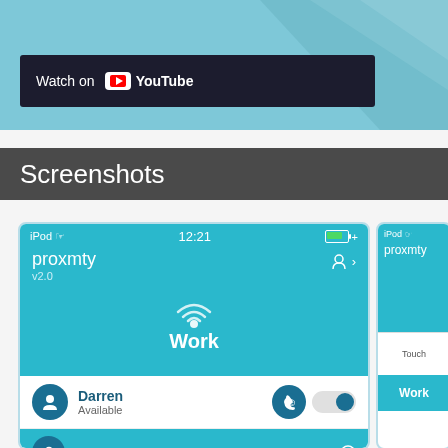[Figure (screenshot): YouTube 'Watch on YouTube' button bar over a teal background with geometric triangle decoration]
Screenshots
[Figure (screenshot): iPhone app screenshot showing proxmty v2.0 app with teal background, WiFi icon, 'Work' label, Darren (Available) contact row with toggle, and Chris Squire (Available) contact row]
[Figure (screenshot): Partial second iPhone screenshot showing proxmty app with teal top, a bottom white section with 'Touch' text and 'Work' label]